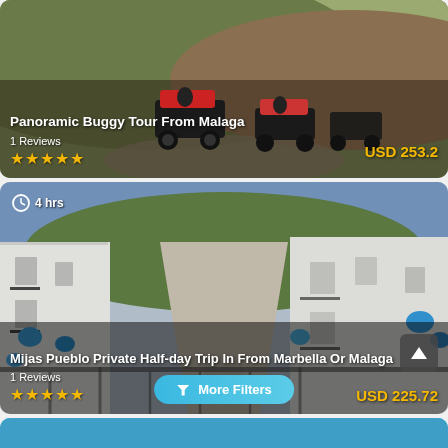[Figure (photo): Panoramic buggy tour vehicles driving on a mountain dirt path in Malaga region, Spain]
Panoramic Buggy Tour From Malaga
1 Reviews ★★★★★ USD 253.2
[Figure (photo): Narrow whitewashed street in Mijas Pueblo with blue flower pots, Spain]
4 hrs
Mijas Pueblo Private Half-day Trip In From Marbella Or Malaga
1 Reviews ★★★★★ More Filters USD 225.72
[Figure (photo): Third card partially visible at bottom]